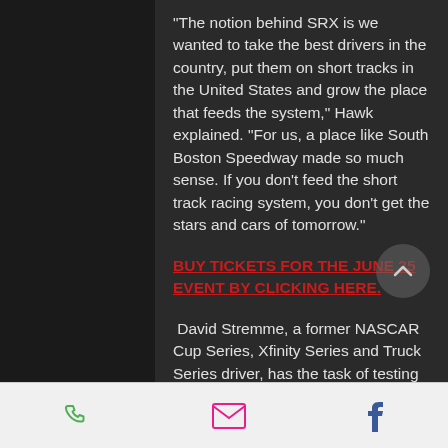"The notion behind SRX is we wanted to take the best drivers in the country, put them on short tracks in the United States and grow the place that feeds the system," Hawk explained. "For us, a place like South Boston Speedway made so much sense. If you don't feed the short track racing system, you don't get the stars and cars of tomorrow."
BUY TICKETS FOR THE JUNE 25 EVENT BY CLICKING HERE.
David Stremme, a former NASCAR Cup Series, Xfinity Series and Truck Series driver, has the task of testing the